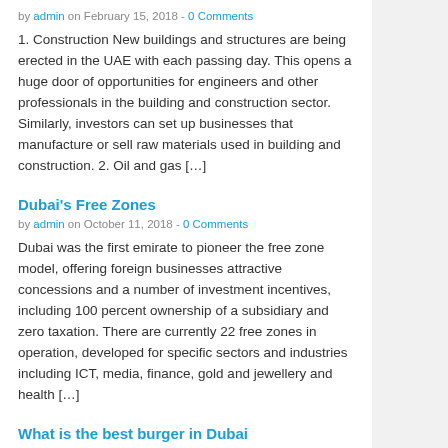by admin on February 15, 2018 - 0 Comments
1. Construction New buildings and structures are being erected in the UAE with each passing day. This opens a huge door of opportunities for engineers and other professionals in the building and construction sector. Similarly, investors can set up businesses that manufacture or sell raw materials used in building and construction. 2. Oil and gas [...]
Dubai's Free Zones
by admin on October 11, 2018 - 0 Comments
Dubai was the first emirate to pioneer the free zone model, offering foreign businesses attractive concessions and a number of investment incentives, including 100 percent ownership of a subsidiary and zero taxation. There are currently 22 free zones in operation, developed for specific sectors and industries including ICT, media, finance, gold and jewellery and health [...]
What is the best burger in Dubai
by admin on November 6, 2018 - 2 Comments
This article might be strange but since the burger is a very popular sandwich and its a quick and delicious food after a hard day of work then why not share my opinion with the people living there about the best burger taste in Dubai so...